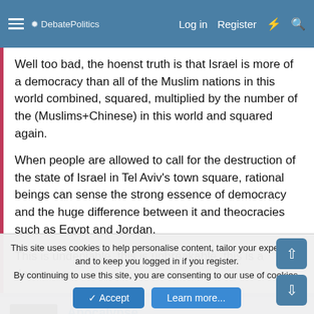DebatePolitics — Log in  Register
Well too bad, the hoenst truth is that Israel is more of a democracy than all of the Muslim nations in this world combined, squared, multiplied by the number of the (Muslims+Chinese) in this world and squared again.

When people are allowed to call for the destruction of the state of Israel in Tel Aviv's town square, rational beings can sense the strong essence of democracy and the huge difference between it and theocracies such as Egypt and Jordan.

This is undeniable, this is unbreakable, this is a democracy.
Apocalypse
DEATH TO ANTARCTICA!!!  DP Veteran
This site uses cookies to help personalise content, tailor your experience and to keep you logged in if you register.
By continuing to use this site, you are consenting to our use of cookies.